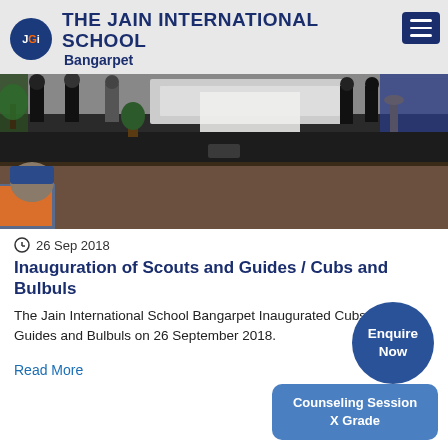THE JAIN INTERNATIONAL SCHOOL Bangarpet
[Figure (photo): School event photo showing a stage with people standing on it, a student in foreground wearing an orange vest, and decorative plants on the side.]
26 Sep 2018
Inauguration of Scouts and Guides / Cubs and Bulbuls
The Jain International School Bangarpet Inaugurated Cubs, Scouts, Guides and Bulbuls on 26 September 2018.
Read More
Enquire Now
Counseling Session X Grade